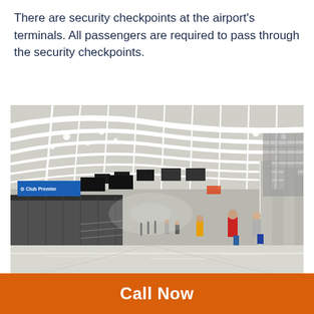There are security checkpoints at the airport's terminals. All passengers are required to pass through the security checkpoints.
[Figure (photo): Interior of a modern airport terminal with arched white structural ceiling beams, check-in counters on the left side with blue Air India Club Premier signage, shiny marble floors, and passengers walking in the background.]
Call Now